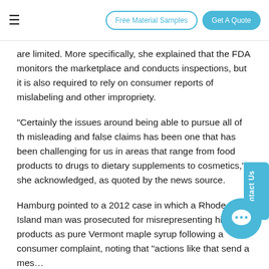Free Material Samples | Get A Quote
are limited. More specifically, she explained that the FDA monitors the marketplace and conducts inspections, but it is also required to rely on consumer reports of mislabeling and other impropriety.
"Certainly the issues around being able to pursue all of the misleading and false claims has been one that has been challenging for us in areas that range from food products to drugs to dietary supplements to cosmetics," she acknowledged, as quoted by the news source.
Hamburg pointed to a 2012 case in which a Rhode Island man was prosecuted for misrepresenting his products as pure Vermont maple syrup following a consumer complaint, noting that "actions like that send a mes...
According to the news source, members of the public who wish to register complaints about mislabeled foods, such as products that claim to contain maple syrup but don't...